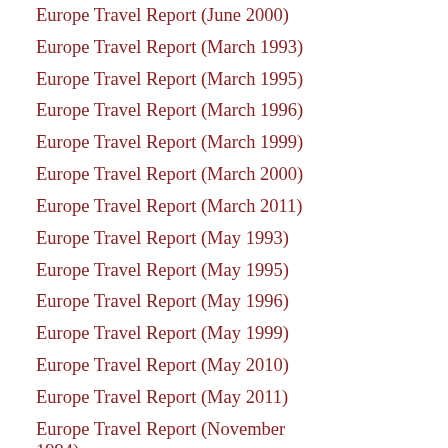Europe Travel Report (June 2000)
Europe Travel Report (March 1993)
Europe Travel Report (March 1995)
Europe Travel Report (March 1996)
Europe Travel Report (March 1999)
Europe Travel Report (March 2000)
Europe Travel Report (March 2011)
Europe Travel Report (May 1993)
Europe Travel Report (May 1995)
Europe Travel Report (May 1996)
Europe Travel Report (May 1999)
Europe Travel Report (May 2010)
Europe Travel Report (May 2011)
Europe Travel Report (November 1994)
Europe Travel Report (November 1996)